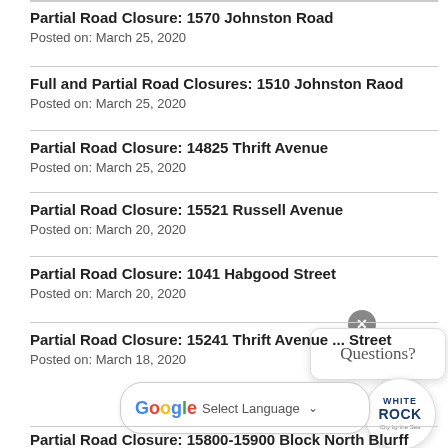Partial Road Closure: 1570 Johnston Road
Posted on: March 25, 2020
Full and Partial Road Closures: 1510 Johnston Raod
Posted on: March 25, 2020
Partial Road Closure: 14825 Thrift Avenue
Posted on: March 25, 2020
Partial Road Closure: 15521 Russell Avenue
Posted on: March 20, 2020
Partial Road Closure: 1041 Habgood Street
Posted on: March 20, 2020
Partial Road Closure: 15241 Thrift Avenue ... Street
Posted on: March 18, 2020
Partial Road Closure: 15800-15900 Block North Blurff